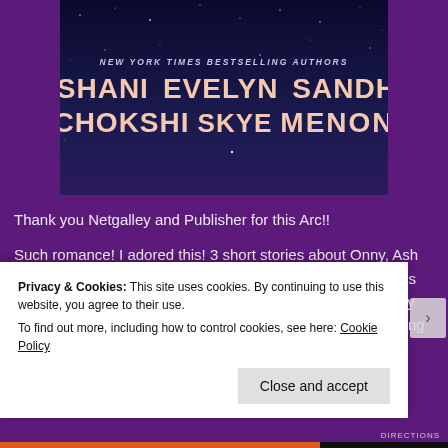[Figure (illustration): Book cover on dark navy starry background. Text reads: NEW YORK TIMES BESTSELLING AUTHORS in italic. Below in large bold letters: ROSHANI CHOKSHI  EVELYN SKYE  SANDHYA MENON]
Thank you Netgalley and Publisher for this Arc!!
Such romance! I adored this! 3 short stories about Onny, Ash and True finding love on the 400th anniversary of their towns founding. The sky itself holds 2 lovers on this night, the Lady and Gentleman of Moon Ridge. But, the Lady's star is missing from the
Privacy & Cookies: This site uses cookies. By continuing to use this website, you agree to their use.
To find out more, including how to control cookies, see here: Cookie Policy
Close and accept